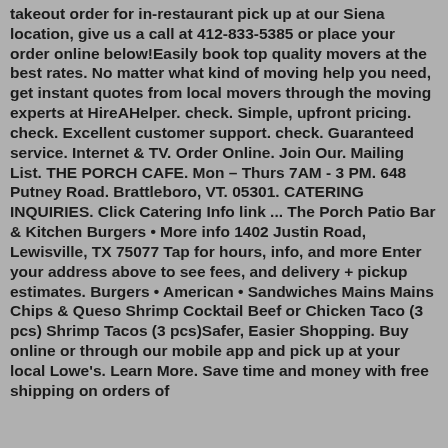takeout order for in-restaurant pick up at our Siena location, give us a call at 412-833-5385 or place your order online below!Easily book top quality movers at the best rates. No matter what kind of moving help you need, get instant quotes from local movers through the moving experts at HireAHelper. check. Simple, upfront pricing. check. Excellent customer support. check. Guaranteed service. Internet & TV. Order Online. Join Our. Mailing List. THE PORCH CAFE. Mon – Thurs 7AM - 3 PM. 648 Putney Road. Brattleboro, VT. 05301. CATERING INQUIRIES. Click Catering Info link ... The Porch Patio Bar & Kitchen Burgers • More info 1402 Justin Road, Lewisville, TX 75077 Tap for hours, info, and more Enter your address above to see fees, and delivery + pickup estimates. Burgers • American • Sandwiches Mains Mains Chips & Queso Shrimp Cocktail Beef or Chicken Taco (3 pcs) Shrimp Tacos (3 pcs)Safer, Easier Shopping. Buy online or through our mobile app and pick up at your local Lowe's. Learn More. Save time and money with free shipping on orders of